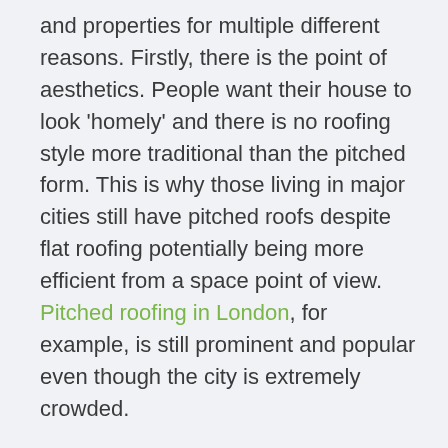and properties for multiple different reasons. Firstly, there is the point of aesthetics. People want their house to look 'homely' and there is no roofing style more traditional than the pitched form. This is why those living in major cities still have pitched roofs despite flat roofing potentially being more efficient from a space point of view. Pitched roofing in London, for example, is still prominent and popular even though the city is extremely crowded.
Besides the traditional appearance, there are plenty of other advantages, though the key ones are focused on durability. Pitched roofs